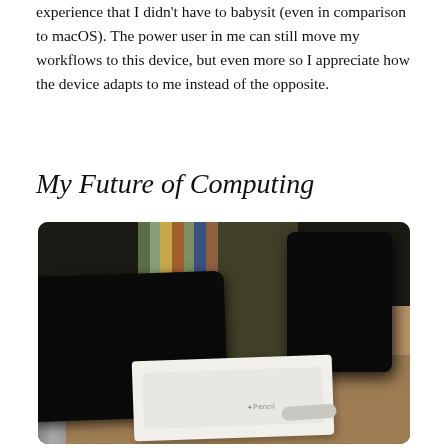experience that I didn't have to babysit (even in comparison to macOS). The power user in me can still move my workflows to this device, but even more so I appreciate how the device adapts to me instead of the opposite.
My Future of Computing
[Figure (photo): Photo of Apple devices on a desk: an iPad lying face down on the left, an iPad Pro standing upright on a stand on the right, and a white Apple Pencil box open in the foreground. Books visible in the background.]